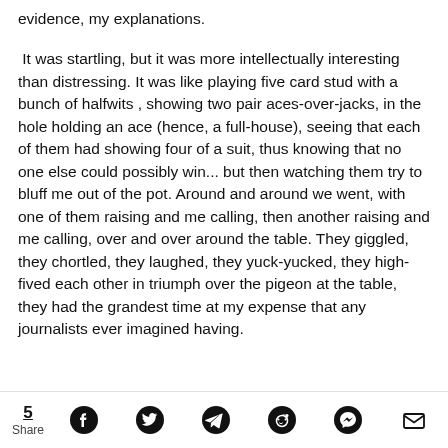evidence, my explanations.
It was startling, but it was more intellectually interesting than distressing. It was like playing five card stud with a bunch of halfwits , showing two pair aces-over-jacks, in the hole holding an ace (hence, a full-house), seeing that each of them had showing four of a suit, thus knowing that no one else could possibly win... but then watching them try to bluff me out of the pot. Around and around we went, with one of them raising and me calling, then another raising and me calling, over and over around the table. They giggled, they chortled, they laughed, they yuck-yucked, they high-fived each other in triumph over the pigeon at the table, they had the grandest time at my expense that any journalists ever imagined having.
5 Share [social sharing icons: Facebook, Twitter, Telegram, Reddit, Messenger, Email]